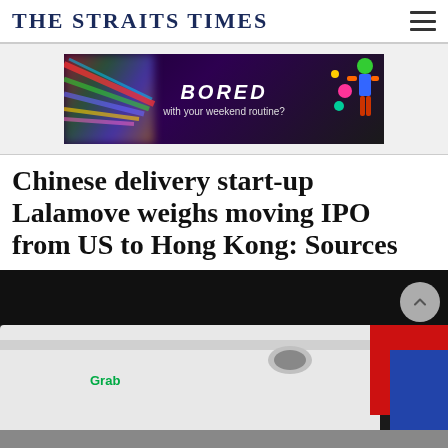THE STRAITS TIMES
[Figure (other): Advertisement banner: dark background with colorful streaks on left, bold italic text 'BORED with your weekend routine?' in white, colorful cartoon figure on right]
Chinese delivery start-up Lalamove weighs moving IPO from US to Hong Kong: Sources
[Figure (photo): Close-up photo of a white vehicle with a Grab sticker visible, taken at an outdoor event or parking area]